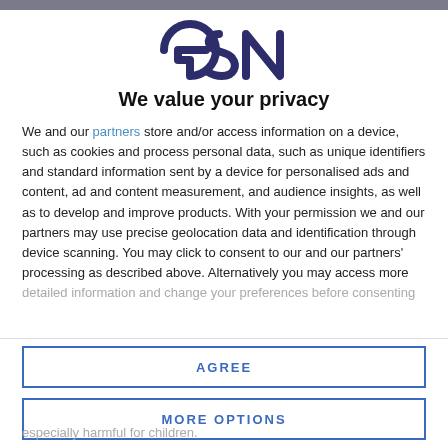[Figure (logo): GSN logo in dark navy/purple color]
We value your privacy
We and our partners store and/or access information on a device, such as cookies and process personal data, such as unique identifiers and standard information sent by a device for personalised ads and content, ad and content measurement, and audience insights, as well as to develop and improve products. With your permission we and our partners may use precise geolocation data and identification through device scanning. You may click to consent to our and our partners' processing as described above. Alternatively you may access more detailed information and change your preferences before consenting
AGREE
MORE OPTIONS
especially harmful for children.